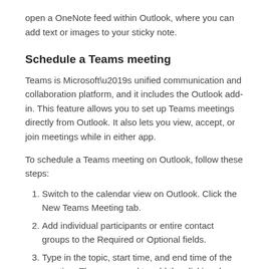open a OneNote feed within Outlook, where you can add text or images to your sticky note.
Schedule a Teams meeting
Teams is Microsoft’s unified communication and collaboration platform, and it includes the Outlook add-in. This feature allows you to set up Teams meetings directly from Outlook. It also lets you view, accept, or join meetings while in either app.
To schedule a Teams meeting on Outlook, follow these steps:
Switch to the calendar view on Outlook. Click the New Teams Meeting tab.
Add individual participants or entire contact groups to the Required or Optional fields.
Type in the topic, start time, and end time of the meeting. Then you need to add the clicking done